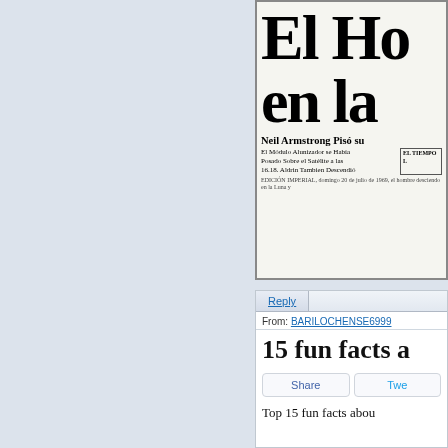[Figure (photo): Scanned front page of a Spanish-language newspaper with large bold headline reading 'El Ho... en la...' (El Hombre en la Luna), subheadline 'Neil Armstrong Pisó su...' and text about the lunar module landing. Also visible is a smaller 'El Tiempo' newspaper masthead.]
[Figure (screenshot): Web forum screenshot showing a Reply button bar, a From: field with username BARILOCHENSE6999, a bold heading '15 fun facts a...', Share and Tweet buttons, and beginning of article text 'Top 15 fun facts abou...']